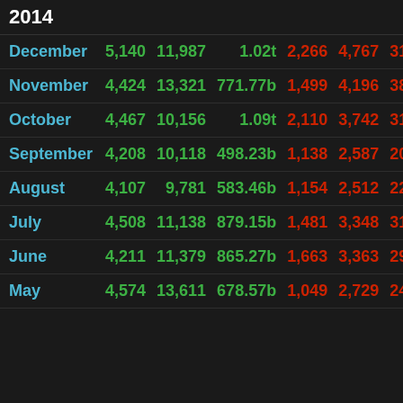2014
| Month | Col1 | Col2 | Col3 | Col4 | Col5 | Col6 |
| --- | --- | --- | --- | --- | --- | --- |
| December | 5,140 | 11,987 | 1.02t | 2,266 | 4,767 | 31.46b |
| November | 4,424 | 13,321 | 771.77b | 1,499 | 4,196 | 38.69b |
| October | 4,467 | 10,156 | 1.09t | 2,110 | 3,742 | 31.95b |
| September | 4,208 | 10,118 | 498.23b | 1,138 | 2,587 | 20.24b |
| August | 4,107 | 9,781 | 583.46b | 1,154 | 2,512 | 22.74b |
| July | 4,508 | 11,138 | 879.15b | 1,481 | 3,348 | 31.64b |
| June | 4,211 | 11,379 | 865.27b | 1,663 | 3,363 | 29.33b |
| May | 4,574 | 13,611 | 678.57b | 1,049 | 2,729 | 24.97b |